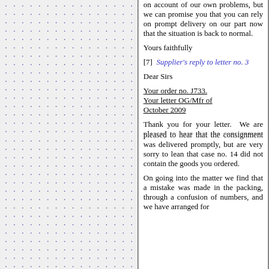on account of our own problems, but we can promise you that you can rely on prompt delivery on our part now that the situation is back to normal.
Yours faithfully
[7] Supplier's reply to letter no. 3
Dear Sirs
Your order no. J733. Your letter OG/Mfr of October 2009
Thank you for your letter. We are pleased to hear that the consignment was delivered promptly, but are very sorry to lean that case no. 14 did not contain the goods you ordered.
On going into the matter we find that a mistake was made in the packing, through a confusion of numbers, and we have arranged for